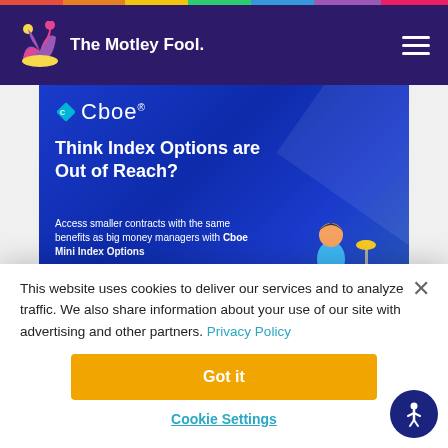[Figure (logo): The Motley Fool logo with jester hat on dark purple navigation bar]
[Figure (screenshot): Cboe advertisement banner: 'Think Index Options are Out of Reach? Access smaller contracts with the same benefits as big money managers with Cboe Mini Index Options']
This website uses cookies to deliver our services and to analyze traffic. We also share information about your use of our site with advertising and other partners. Privacy Policy
Got it
Cookie Settings